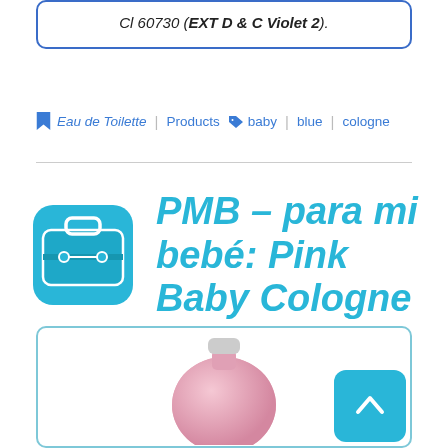Cl 60730 (EXT D & C Violet 2).
Eau de Toilette | Products  baby | blue | cologne
[Figure (logo): Teal rounded square icon with a suitcase/luggage symbol]
PMB – para mi bebé: Pink Baby Cologne
[Figure (photo): Pink baby cologne bottle, round shape, partially visible at bottom of page]